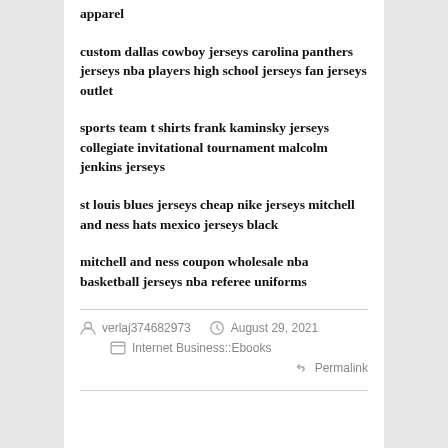apparel
custom dallas cowboy jerseys carolina panthers jerseys nba players high school jerseys fan jerseys outlet
sports team t shirts frank kaminsky jerseys collegiate invitational tournament malcolm jenkins jerseys
st louis blues jerseys cheap nike jerseys mitchell and ness hats mexico jerseys black
mitchell and ness coupon wholesale nba basketball jerseys nba referee uniforms
verlaj374682973   August 29, 2021   Internet Business::Ebooks   Permalink